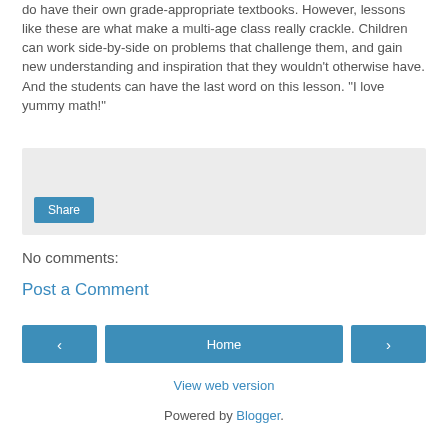do have their own grade-appropriate textbooks. However, lessons like these are what make a multi-age class really crackle. Children can work side-by-side on problems that challenge them, and gain new understanding and inspiration that they wouldn't otherwise have. And the students can have the last word on this lesson. "I love yummy math!"
[Figure (other): A light grey share box with a Share button inside]
No comments:
Post a Comment
[Figure (other): Navigation bar with previous (‹), Home, and next (›) buttons in blue]
View web version
Powered by Blogger.